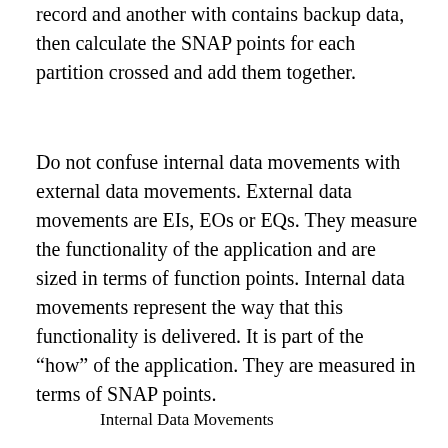record and another with contains backup data, then calculate the SNAP points for each partition crossed and add them together.
Do not confuse internal data movements with external data movements. External data movements are EIs, EOs or EQs. They measure the functionality of the application and are sized in terms of function points. Internal data movements represent the way that this functionality is delivered. It is part of the “how” of the application. They are measured in terms of SNAP points.
Internal Data Movements